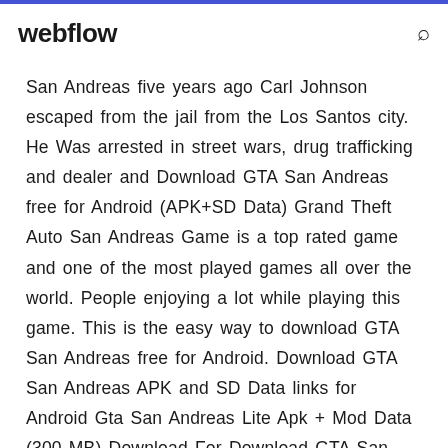webflow
San Andreas five years ago Carl Johnson escaped from the jail from the Los Santos city. He Was arrested in street wars, drug trafficking and dealer and Download GTA San Andreas free for Android (APK+SD Data) Grand Theft Auto San Andreas Game is a top rated game and one of the most played games all over the world. People enjoying a lot while playing this game. This is the easy way to download GTA San Andreas free for Android. Download GTA San Andreas APK and SD Data links for Android Gta San Andreas Lite Apk + Mod Data (300 MB) Download For Download GTA San Andreas Lite Apk from this link for your Android. It is the lite official version. So, click and download for free